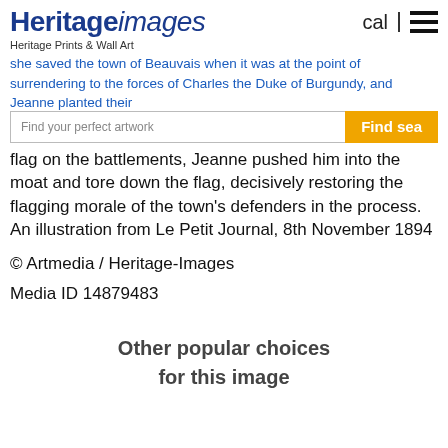Heritage images
Heritage Prints & Wall Art
she saved the town of Beauvais when it was at the point of surrendering to the forces of Charles the Duke of Burgundy, and Jeanne planted their flag on the battlements, Jeanne pushed him into the moat and tore down the flag, decisively restoring the flagging morale of the town's defenders in the process. An illustration from Le Petit Journal, 8th November 1894
© Artmedia / Heritage-Images
Media ID 14879483
Other popular choices for this image